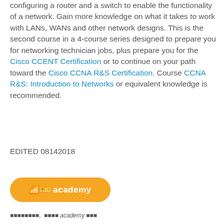configuring a router and a switch to enable the functionality of a network. Gain more knowledge on what it takes to work with LANs, WANs and other network designs. This is the second course in a 4-course series designed to prepare you for networking technician jobs, plus prepare you for the Cisco CCENT Certification or to continue on your path toward the Cisco CCNA R&S Certification. Course CCNA R&S: Introduction to Networks or equivalent knowledge is recommended.
EDITED 08142018
[Figure (other): Orange pill-shaped button with text '00 academy' in white bold font]
00000000,  0000 academy 000